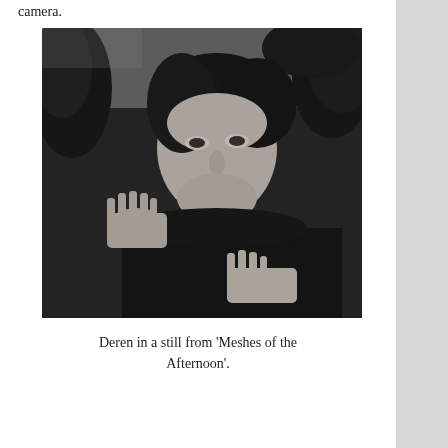camera.
[Figure (photo): Black and white still photograph of Maya Deren from the film 'Meshes of the Afternoon'. A woman with curly dark hair looks directly at the camera, her hands pressed against what appears to be a glass surface or window, with foliage visible in the background.]
Deren in a still from 'Meshes of the Afternoon'.